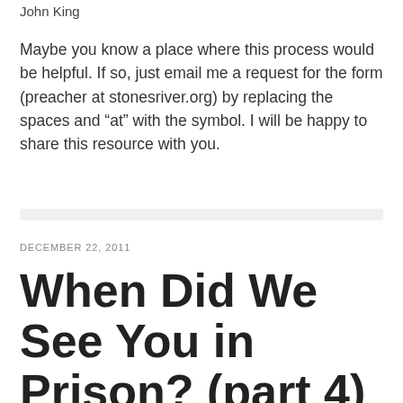John King
Maybe you know a place where this process would be helpful. If so, just email me a request for the form (preacher at stonesriver.org) by replacing the spaces and “at” with the symbol. I will be happy to share this resource with you.
DECEMBER 22, 2011
When Did We See You in Prison? (part 4)